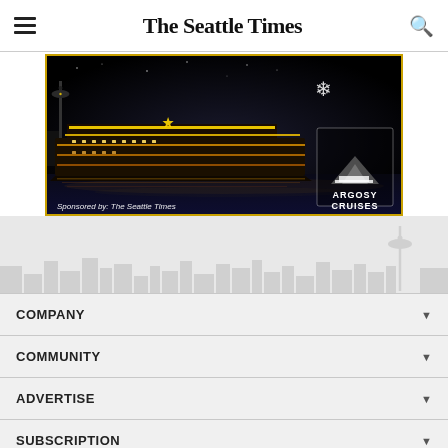The Seattle Times
[Figure (photo): Argosy Cruises advertisement showing a large illuminated cruise ship at night with Seattle Space Needle in background, gold border, snowflake graphic, Argosy Cruises logo, text: Sponsored by: The Seattle Times]
[Figure (illustration): Seattle city skyline silhouette in light gray against white background]
COMPANY
COMMUNITY
ADVERTISE
SUBSCRIPTION